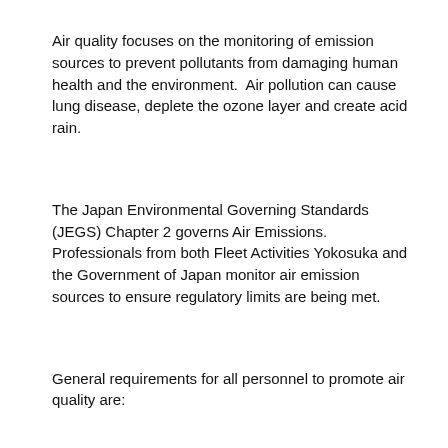Air quality focuses on the monitoring of emission sources to prevent pollutants from damaging human health and the environment.  Air pollution can cause lung disease, deplete the ozone layer and create acid rain.
The Japan Environmental Governing Standards (JEGS) Chapter 2 governs Air Emissions.  Professionals from both Fleet Activities Yokosuka and the Government of Japan monitor air emission sources to ensure regulatory limits are being met.
General requirements for all personnel to promote air quality are:
No open burning.
Heating and Air Conditioning repairs conducted by trained